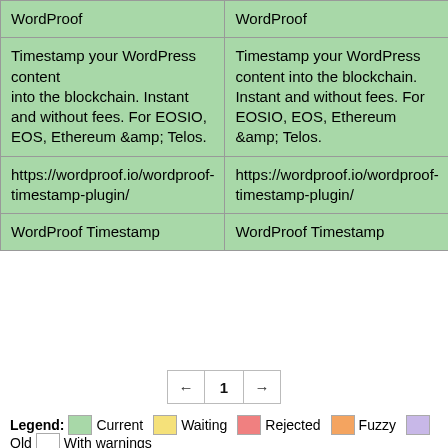|  |  |  |
| --- | --- | --- |
| WordProof | WordProof | Details |
| Timestamp your WordPress content … into the blockchain. Instant and without fees. For EOSIO, EOS, Ethereum &amp; Telos. | Timestamp your WordPress content … into the blockchain. Instant and without fees. For EOSIO, EOS, Ethereum &amp; Telos. | Details |
| https://wordproof.io/wordproof-timestamp-plugin/ | https://wordproof.io/wordproof-timestamp-plugin/ | Details |
| WordProof Timestamp | WordProof Timestamp | Details |
← 1 →
Legend: Current Waiting Rejected Fuzzy
Old With warnings